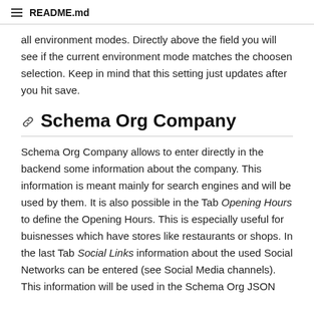README.md
all environment modes. Directly above the field you will see if the current environment mode matches the choosen selection. Keep in mind that this setting just updates after you hit save.
Schema Org Company
Schema Org Company allows to enter directly in the backend some information about the company. This information is meant mainly for search engines and will be used by them. It is also possible in the Tab Opening Hours to define the Opening Hours. This is especially useful for buisnesses which have stores like restaurants or shops. In the last Tab Social Links information about the used Social Networks can be entered (see Social Media channels). This information will be used in the Schema Org JSON